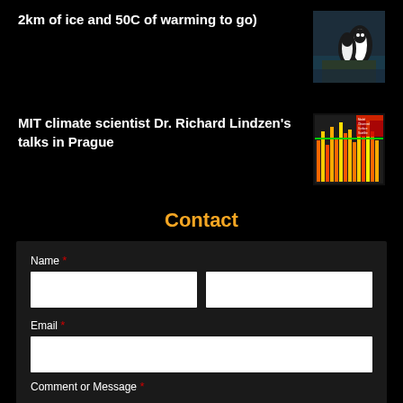2km of ice and 50C of warming to go)
[Figure (photo): Photo of penguins on rocks near water]
MIT climate scientist Dr. Richard Lindzen's talks in Prague
[Figure (other): Colorful chart/graph image with red, yellow and orange hues]
Contact
Name *
Email *
Comment or Message *